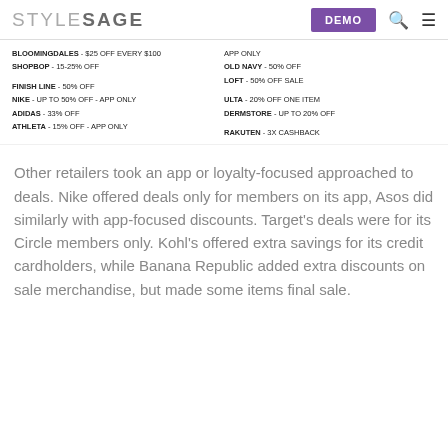STYLESAGE DEMO
BLOOMINGDALES - $25 OFF EVERY $100 APP ONLY
SHOPBOP - 15-25% OFF
OLD NAVY - 50% OFF
LOFT - 50% OFF SALE
FINISH LINE - 50% OFF
NIKE - UP TO 50% OFF - APP ONLY
ADIDAS - 33% OFF
ATHLETA - 15% OFF - APP ONLY
ULTA - 20% OFF ONE ITEM
DERMSTORE - UP TO 20% OFF
RAKUTEN - 3X CASHBACK
Other retailers took an app or loyalty-focused approached to deals. Nike offered deals only for members on its app, Asos did similarly with app-focused discounts. Target's deals were for its Circle members only. Kohl's offered extra savings for its credit cardholders, while Banana Republic added extra discounts on sale merchandise, but made some items final sale.